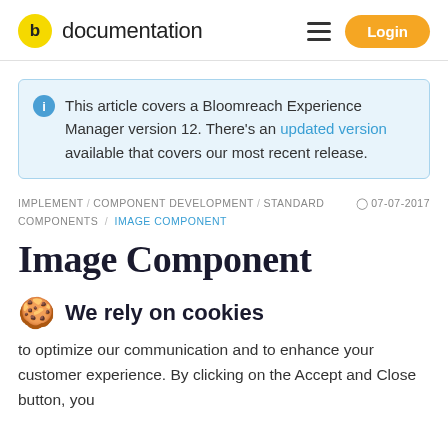b documentation | Login
This article covers a Bloomreach Experience Manager version 12. There's an updated version available that covers our most recent release.
IMPLEMENT / COMPONENT DEVELOPMENT / STANDARD COMPONENTS / IMAGE COMPONENT  07-07-2017
Image Component
🍪 We rely on cookies
to optimize our communication and to enhance your customer experience. By clicking on the Accept and Close button, you